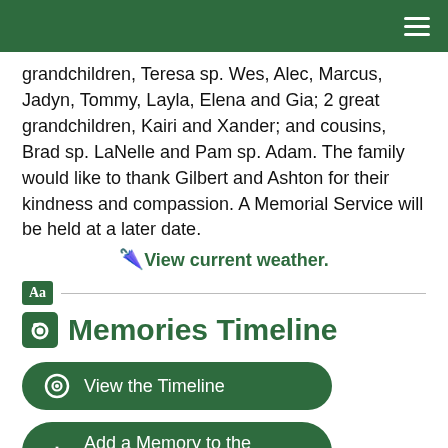grandchildren, Teresa sp. Wes, Alec, Marcus, Jadyn, Tommy, Layla, Elena and Gia; 2 great grandchildren, Kairi and Xander; and cousins, Brad sp. LaNelle and Pam sp. Adam. The family would like to thank Gilbert and Ashton for their kindness and compassion. A Memorial Service will be held at a later date.
View current weather.
Memories Timeline
View the Timeline
Add a Memory to the Timeline
Guestbook